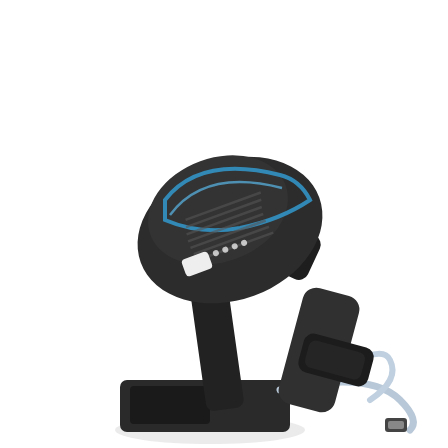[Figure (other): Orange rounded rectangle button with white text 'Get Price']
[Figure (other): Blue badge on right side with chat bubble icon and text 'Free Chat']
[Figure (photo): Barcode scanner (handheld gun-type) on a black stand/cradle with a white USB cable coiled at the bottom, photographed against white background]